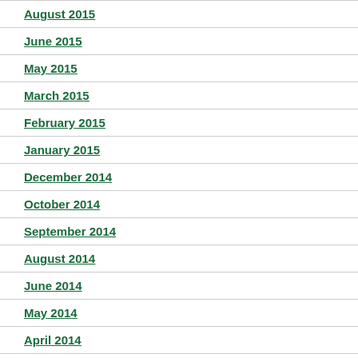August 2015
June 2015
May 2015
March 2015
February 2015
January 2015
December 2014
October 2014
September 2014
August 2014
June 2014
May 2014
April 2014
March 2014
January 2014
November 2013
October 2013